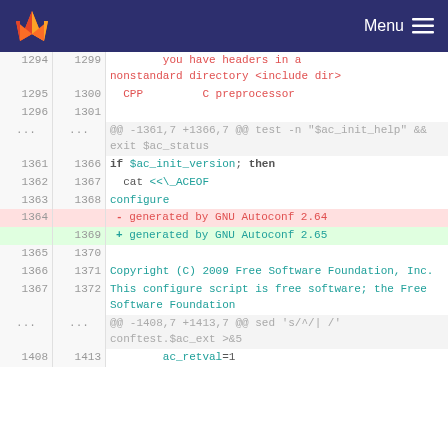Menu
[Figure (screenshot): GitLab diff view showing code changes in a configure script, with line numbers, removed lines (red background) and added lines (green background), displaying changes to GNU Autoconf version string from 2.64 to 2.65 and surrounding context.]